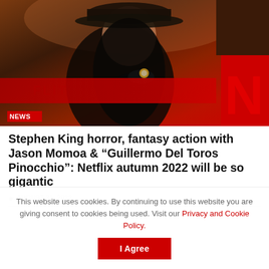[Figure (photo): A dark, dramatic movie promotional image showing a person with long dark hair wearing a hat and black gloves, seemingly pointing something at the camera. A Netflix red banner/bar is visible in the background. Red Netflix 'N' logo visible on right side. A red 'NEWS' badge appears in the bottom-left corner of the image.]
Stephen King horror, fantasy action with Jason Momoa & “Guillermo Del Toros Pinocchio”: Netflix autumn 2022 will be so gigantic
AUGUST 31, 2022
This website uses cookies. By continuing to use this website you are giving consent to cookies being used. Visit our Privacy and Cookie Policy.
I Agree